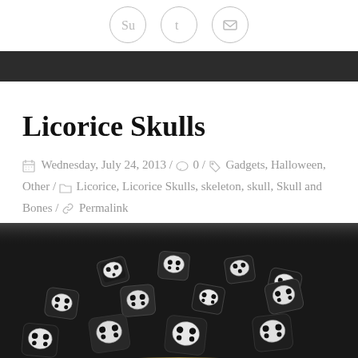[Social share icons: StumbleUpon, Tumblr, Email]
Licorice Skulls
Wednesday, July 24, 2013 / 0 / Gadgets, Halloween, Other / Licorice, Licorice Skulls, skeleton, skull, Skull and Bones / Permalink
[Figure (photo): A bowl of black licorice skull-shaped candies with white skull face patterns visible on the ends of each piece]